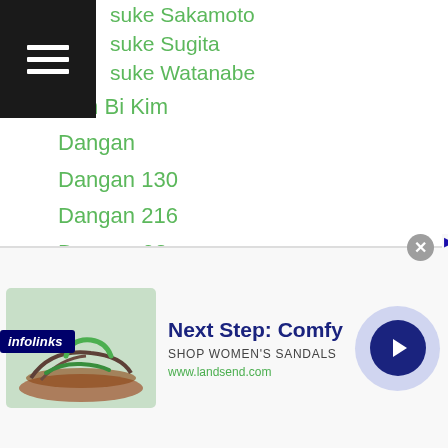suke Sakamoto
suke Sugita
suke Watanabe
Dan Bi Kim
Dangan
Dangan 130
Dangan 216
Dangan-93
Dangan Aoki
Daniel Geale
Daniel Martin
Daniel-ponce-de-leon
Danila Semenov
Daniyar Yeleussinov
Danrick Sumabong
Dante-jardon
jordan
[Figure (screenshot): Advertisement banner for Lands End women's sandals showing sandal image, 'Next Step: Comfy' headline, 'SHOP WOMEN'S SANDALS' subtext, and www.landsend.com URL with navigation arrow]